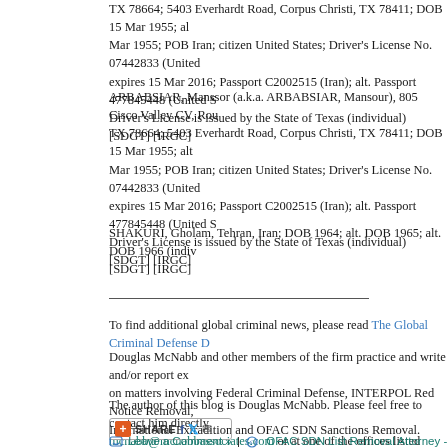TX 78664; 5403 Everhardt Road, Corpus Christi, TX 78411; DOB 15 Mar 1955; al... Mar 1955; POB Iran; citizen United States; Driver's License No. 07442833 (United... expires 15 Mar 2016; Passport C2002515 (Iran); alt. Passport 477845448 (United S... Driver's License is issued by the State of Texas (individual) [SDGT] [IRGC]
ARBABSIAR, Manssor (a.k.a. ARBABSIAR, Mansour), 805 Cisco Valley CV, Rou... TX 78664; 5403 Everhardt Road, Corpus Christi, TX 78411; DOB 15 Mar 1955; alt... Mar 1955; POB Iran; citizen United States; Driver's License No. 07442833 (United... expires 15 Mar 2016; Passport C2002515 (Iran); alt. Passport 477845448 (United S... Driver's License is issued by the State of Texas (individual) [SDGT] [IRGC]
SHAKURI, Gholam, Tehran, Iran; DOB 1964; alt. DOB 1965; alt. DOB 1966 (indi... [SDGT] [IRGC]
To find additional global criminal news, please read The Global Criminal Defense D...
Douglas McNabb and other members of the firm practice and write and/or report ex... on matters involving Federal Criminal Defense, INTERPOL Red Notice Removal, International Extradition and OFAC SDN Sanctions Removal.
The author of this blog is Douglas McNabb. Please feel free to contact him directly... mcnabb@mcnabbassociates.com or at one of the offices listed above.
[Figure (other): Share button widget with social media icons (Facebook, Twitter, Email)]
Leave a Comment » | OFAC SDN List Removal Attorney - Douglas McNabb | Ta...